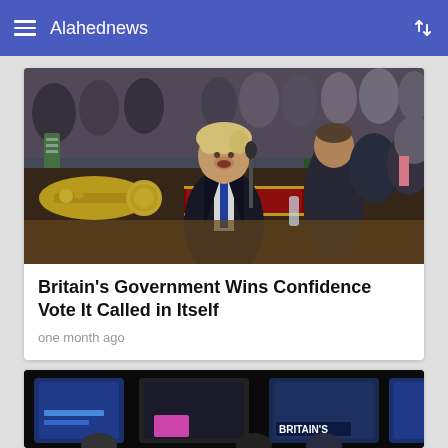Alahednews
[Figure (photo): Photo of a politician speaking at a podium in a parliamentary chamber, surrounded by seated MPs. A golden mace is visible in the foreground.]
Britain's Government Wins Confidence Vote It Called in Itself
one month ago
[Figure (photo): Partial view of a dark-background news broadcast or debate scene with 'BRITAIN'S' text visible on screen.]